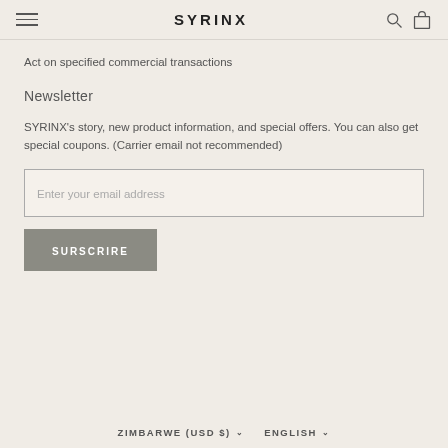SYRINX
Act on specified commercial transactions
Newsletter
SYRINX's story, new product information, and special offers. You can also get special coupons. (Carrier email not recommended)
Enter your email address
SURSCRIRE
ZIMBARWE (USD $) ENGLISH